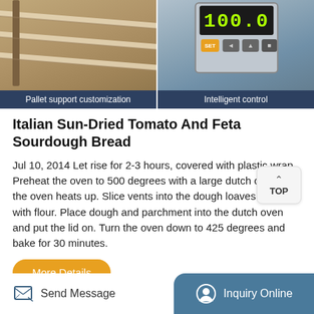[Figure (photo): Two side-by-side product feature images: left shows metal rack/shelf interior (pallet support customization), right shows digital control panel display showing '100.0' with buttons (Intelligent control)]
Pallet support customization
Intelligent control
Italian Sun-Dried Tomato And Feta Sourdough Bread
Jul 10, 2014 Let rise for 2-3 hours, covered with plastic wrap. Preheat the oven to 500 degrees with a large dutch oven as the oven heats up. Slice vents into the dough loaves and dust with flour. Place dough and parchment into the dutch oven and put the lid on. Turn the oven down to 425 degrees and bake for 30 minutes.
More Details
Send Message
Inquiry Online